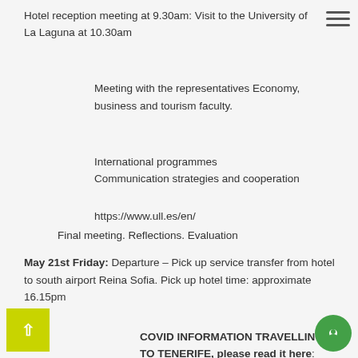Hotel reception meeting at 9.30am: Visit to the University of La Laguna at 10.30am
Meeting with the representatives Economy, business and tourism faculty.
International programmes
Communication strategies and cooperation
https://www.ull.es/en/
Final meeting. Reflections. Evaluation
May 21st Friday: Departure – Pick up service transfer from hotel to south airport Reina Sofia. Pick up hotel time: approximate 16.15pm
COVID INFORMATION TRAVELLING TO TENERIFE, please read it here: https://www.webtenerife.co.uk/blog/coronavirus/